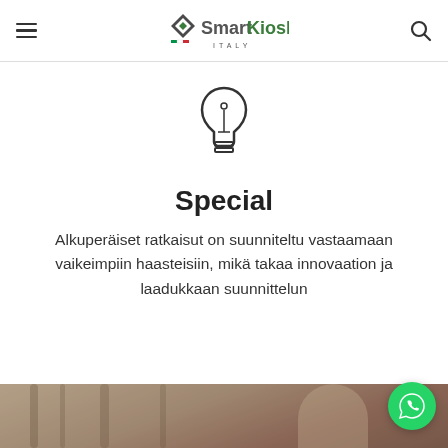SmartKiosk ITALY — navigation header with logo, hamburger menu, and search icon
[Figure (illustration): Light bulb icon outline]
Special
Alkuperäiset ratkaisut on suunniteltu vastaamaan vaikeimpiin haasteisiin, mikä takaa innovaation ja laadukkaan suunnittelun
[Figure (photo): Blurred background photo of a person in a cafe or restaurant setting, bottom of page]
[Figure (illustration): WhatsApp floating button (green circle with phone/chat icon) at bottom right]